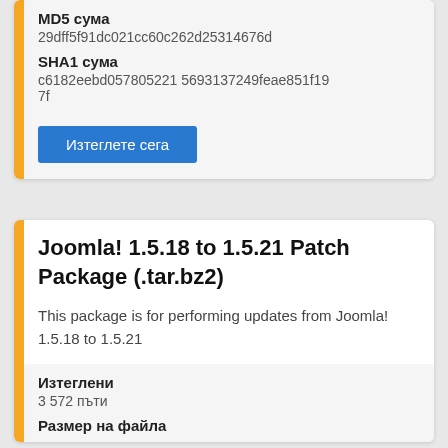MD5 сума
29dff5f91dc021cc60c262d25314676d
SHA1 сума
c6182eebd057805221 5693137249feae851f197f
Изтеглете сега
Joomla! 1.5.18 to 1.5.21 Patch Package (.tar.bz2)
This package is for performing updates from Joomla! 1.5.18 to 1.5.21
Изтеглени
3 572 пъти
Размер на файла